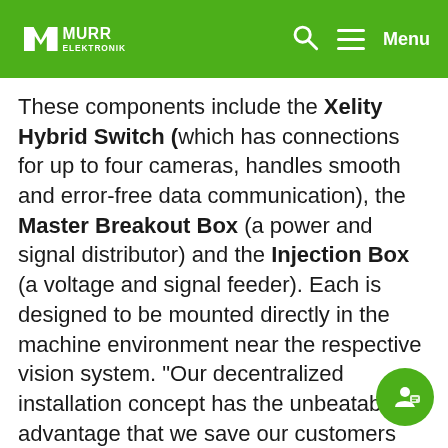MURR ELEKTRONIK — Menu
These components include the Xelity Hybrid Switch (which has connections for up to four cameras, handles smooth and error-free data communication), the Master Breakout Box (a power and signal distributor) and the Injection Box (a voltage and signal feeder). Each is designed to be mounted directly in the machine environment near the respective vision system. "Our decentralized installation concept has the unbeatable advantage that we save our customers the time-consuming and expensive control cabinet installation," says Simon Schlichenmaier, Market Development Vision Systems at Murrelektronik. "Switch cabinets can